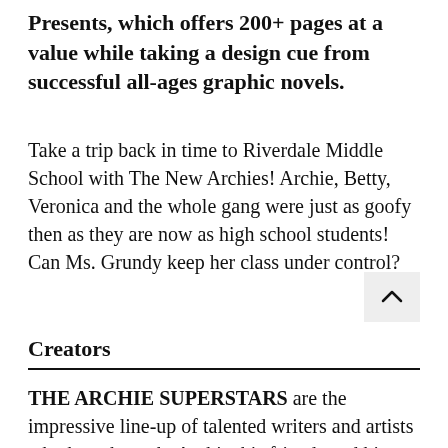Presents, which offers 200+ pages at a value while taking a design cue from successful all-ages graphic novels.
Take a trip back in time to Riverdale Middle School with The New Archies! Archie, Betty, Veronica and the whole gang were just as goofy then as they are now as high school students! Can Ms. Grundy keep her class under control?
Creators
THE ARCHIE SUPERSTARS are the impressive line-up of talented writers and artists who have brought Archie, his friends and his world to life for